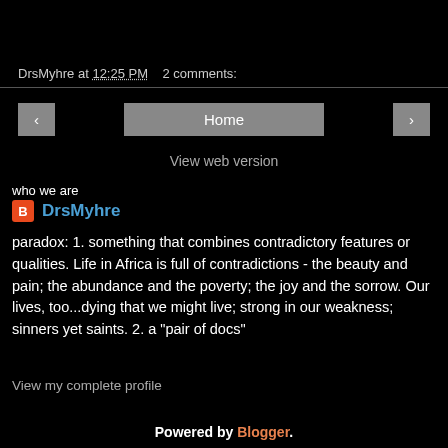DrsMyhre at 12:25 PM   2 comments:
< Home >
View web version
who we are
DrsMyhre
paradox: 1. something that combines contradictory features or qualities. Life in Africa is full of contradictions - the beauty and pain; the abundance and the poverty; the joy and the sorrow. Our lives, too...dying that we might live; strong in our weakness; sinners yet saints. 2. a "pair of docs"
View my complete profile
Powered by Blogger.